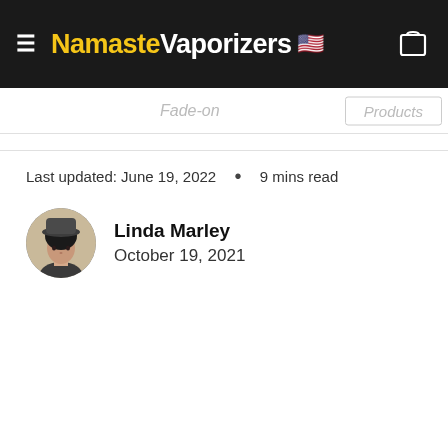NamasteVaporizers
Fade-on   Products
Last updated: June 19, 2022  •  9 mins read
[Figure (photo): Circular author avatar photo of Linda Marley, a woman with dark hair and a hat]
Linda Marley
October 19, 2021